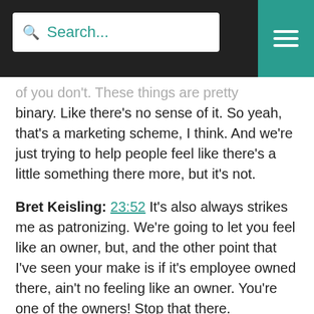Search... [menu]
of you don't. These things are pretty binary. Like there's no sense of it. So yeah, that's a marketing scheme, I think. And we're just trying to help people feel like there's a little something there more, but it's not.
Bret Keisling: 23:52 It's also always strikes me as patronizing. We're going to let you feel like an owner, but, and the other point that I've seen your make is if it's employee owned there, ain't no feeling like an owner. You're one of the owners! Stop that there.
Bret Keisling: 24:12 Jen here's